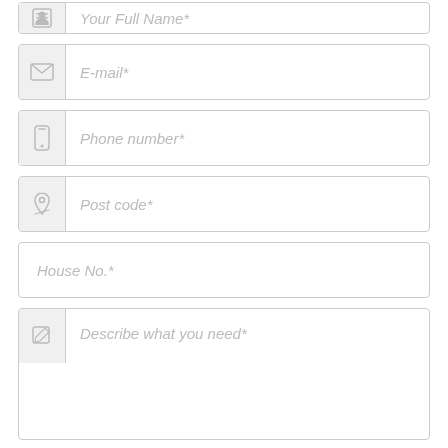[Figure (screenshot): Web form with input fields: Your Full Name (partially visible at top), E-mail, Phone number, Post code, House No., Describe what you need, a Submit button, and a footnote about required fields and privacy policy.]
Your Full Name*
E-mail*
Phone number*
Post code*
House No.*
Describe what you need*
Submit
* Required Fields. Your privacy is important to us. By submitting this form, you'll be contacted by up to 4 suppliers and are subject to our Privacy Policy.